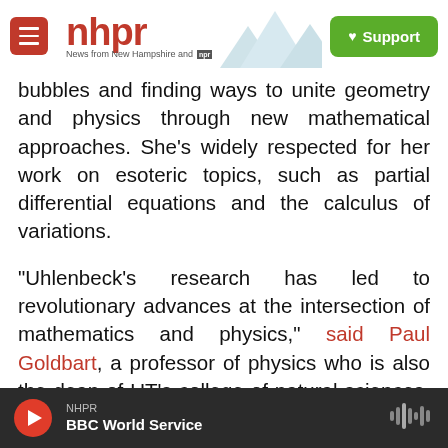NHPR — News from New Hampshire and NPR | Support
bubbles and finding ways to unite geometry and physics through new mathematical approaches. She's widely respected for her work on esoteric topics, such as partial differential equations and the calculus of variations.
"Uhlenbeck's research has led to revolutionary advances at the intersection of mathematics and physics," said Paul Goldbart, a professor of physics who is also the dean of UT's college of natural sciences. In a statement about Uhlenbeck winning the Abel Prize, he added, "Her pioneering insights have applications across a range of fascinating
NHPR — BBC World Service